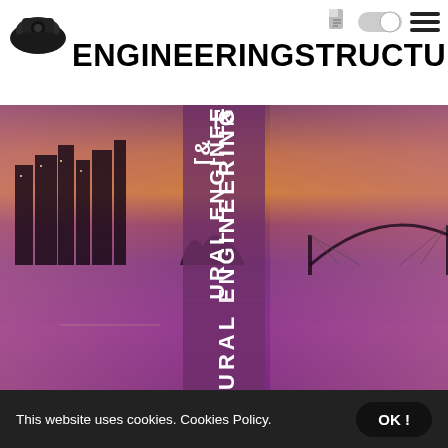ENGINEERINGSTRUCTURES
[Figure (photo): Night/sunset cityscape of Sydney, Australia, featuring the Sydney Opera House and Harbour Bridge reflected in purple-toned water. A vertical dark purple band overlays the center with bold white rotated text reading 'URAL ENGINEERING' (part of 'STRUCTURAL ENGINEERING').]
This website uses cookies. Cookies Policy.